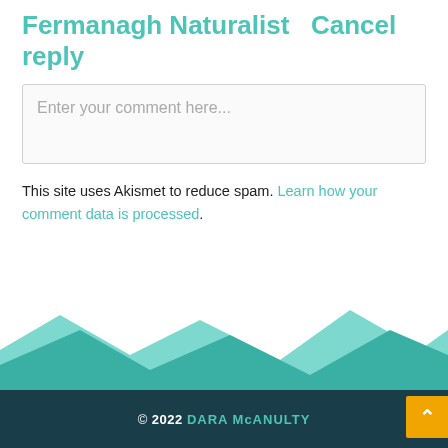Fermanagh Naturalist   Cancel reply
Enter your comment here...
This site uses Akismet to reduce spam. Learn how your comment data is processed.
[Figure (illustration): Teal mountain/wave silhouette decorative footer graphic]
© 2022 DARA McANULTY